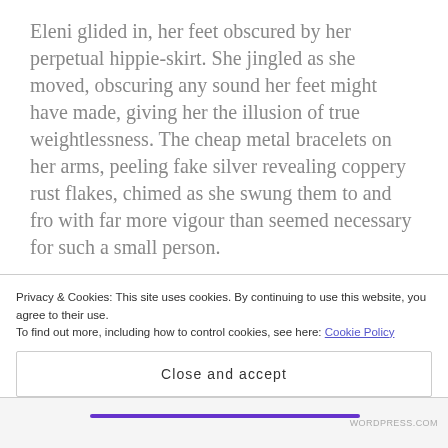Eleni glided in, her feet obscured by her perpetual hippie-skirt. She jingled as she moved, obscuring any sound her feet might have made, giving her the illusion of true weightlessness. The cheap metal bracelets on her arms, peeling fake silver revealing coppery rust flakes, chimed as she swung them to and fro with far more vigour than seemed necessary for such a small person.
She looked around, surveying the tinseled, red and green bannered, generally over-the-top ornamented
Privacy & Cookies: This site uses cookies. By continuing to use this website, you agree to their use.
To find out more, including how to control cookies, see here: Cookie Policy
Close and accept